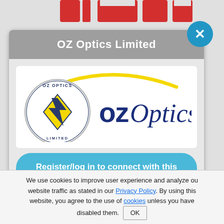[Figure (screenshot): Partial view of a red website header/logo at the top of the page]
OZ Optics Limited
[Figure (logo): OZ Optics Limited company logo: circular badge with 'OZ OPTICS LIMITED' text and diamond/arrow graphic, alongside 'ozOptics' wordmark with yellow swoosh arc above]
Register/log in to connect with this company
We use cookies to improve user experience and analyze our website traffic as stated in our Privacy Policy. By using this website, you agree to the use of cookies unless you have disabled them. OK